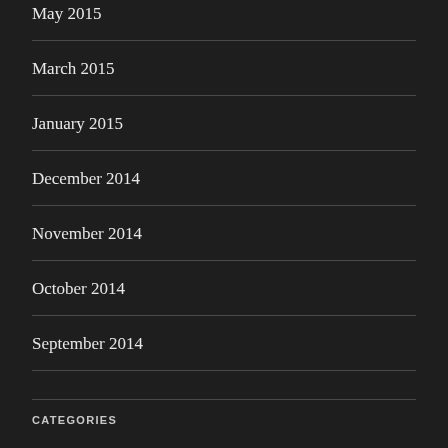May 2015
March 2015
January 2015
December 2014
November 2014
October 2014
September 2014
CATEGORIES